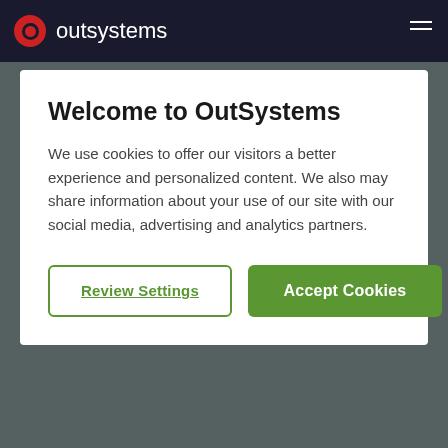outsystems
Welcome to OutSystems
We use cookies to offer our visitors a better experience and personalized content. We also may share information about your use of our site with our social media, advertising and analytics partners.
Review Settings
Accept Cookies
component.
Did you try to use this other component?
https://www.outsystems.com/forge/component-overview/2044/idp-mobile